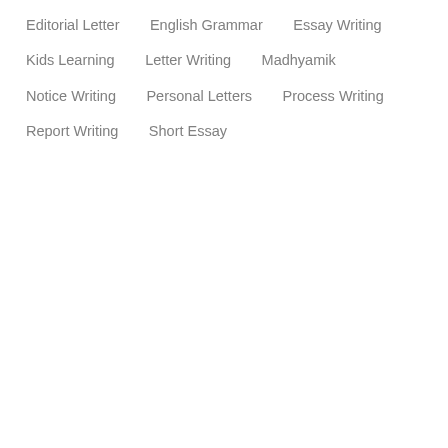Editorial Letter
English Grammar
Essay Writing
Kids Learning
Letter Writing
Madhyamik
Notice Writing
Personal Letters
Process Writing
Report Writing
Short Essay